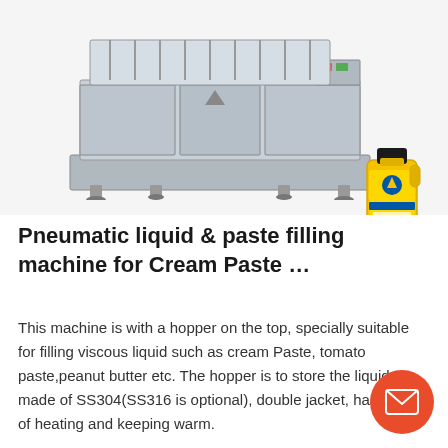[Figure (photo): Industrial pneumatic liquid and paste filling machine (large metal industrial machine with multiple fill heads) shown with a yellow motor oil bottle in the foreground bottom-right]
Pneumatic liquid & paste filling machine for Cream Paste …
This machine is with a hopper on the top, specially suitable for filling viscous liquid such as cream Paste, tomato paste,peanut butter etc. The hopper is to store the liquid, made of SS304(SS316 is optional), double jacket, hasfunction of heating and keeping warm.